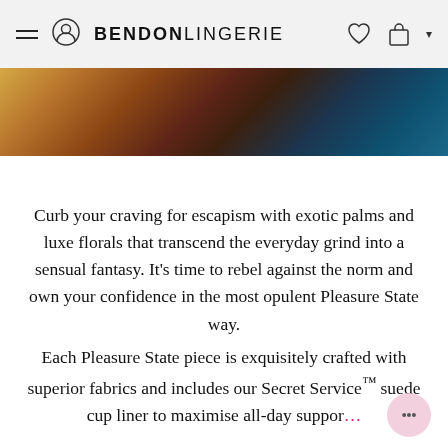BENDON LINGERIE
[Figure (photo): Cropped photo of a woman wearing colorful lingerie with exotic floral and palm patterns in warm tones with blue accent]
Curb your craving for escapism with exotic palms and luxe florals that transcend the everyday grind into a sensual fantasy. It’s time to rebel against the norm and own your confidence in the most opulent Pleasure State way.
Each Pleasure State piece is exquisitely crafted with superior fabrics and includes our Secret Service™ suede cup liner to maximise all-day suppor…